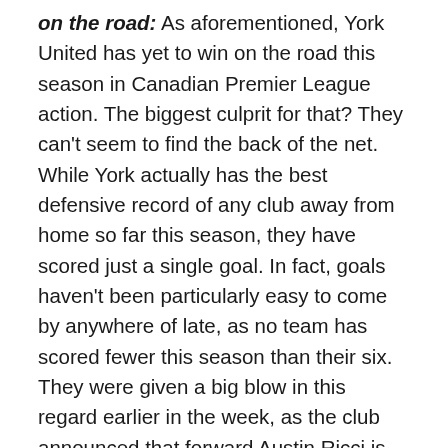on the road: As aforementioned, York United has yet to win on the road this season in Canadian Premier League action. The biggest culprit for that? They can't seem to find the back of the net. While York actually has the best defensive record of any club away from home so far this season, they have scored just a single goal. In fact, goals haven't been particularly easy to come by anywhere of late, as no team has scored fewer this season than their six. They were given a big blow in this regard earlier in the week, as the club announced that forward Austin Ricci is expected to miss the rest of the season after undergoing ACL surgery. But their lack of goals certainly isn't for a lack of trying. York leads the league in shot attempts and chances created and has underperformed their expected goals by a stunning 5.11 through nine matches. At some point,